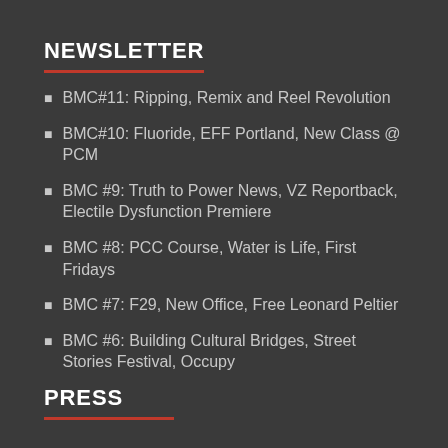NEWSLETTER
BMC#11: Ripping, Remix and Reel Revolution
BMC#10: Fluoride, EFF Portland, New Class @ PCM
BMC #9: Truth to Power News, VZ Reportback, Electile Dysfunction Premiere
BMC #8: PCC Course, Water is Life, First Fridays
BMC #7: F29, New Office, Free Leonard Peltier
BMC #6: Building Cultural Bridges, Street Stories Festival, Occupy
PRESS